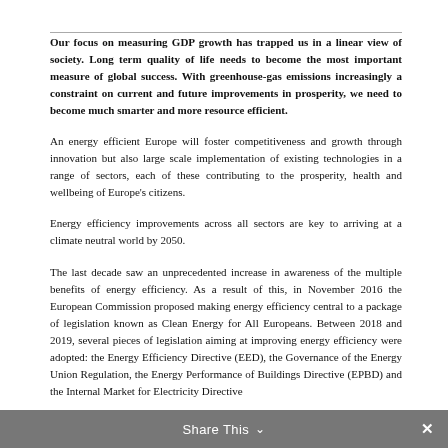Our focus on measuring GDP growth has trapped us in a linear view of society. Long term quality of life needs to become the most important measure of global success. With greenhouse-gas emissions increasingly a constraint on current and future improvements in prosperity, we need to become much smarter and more resource efficient.
An energy efficient Europe will foster competitiveness and growth through innovation but also large scale implementation of existing technologies in a range of sectors, each of these contributing to the prosperity, health and wellbeing of Europe's citizens.
Energy efficiency improvements across all sectors are key to arriving at a climate neutral world by 2050.
The last decade saw an unprecedented increase in awareness of the multiple benefits of energy efficiency. As a result of this, in November 2016 the European Commission proposed making energy efficiency central to a package of legislation known as Clean Energy for All Europeans. Between 2018 and 2019, several pieces of legislation aiming at improving energy efficiency were adopted: the Energy Efficiency Directive (EED), the Governance of the Energy Union Regulation, the Energy Performance of Buildings Directive (EPBD) and the Internal Market for Electricity Directive